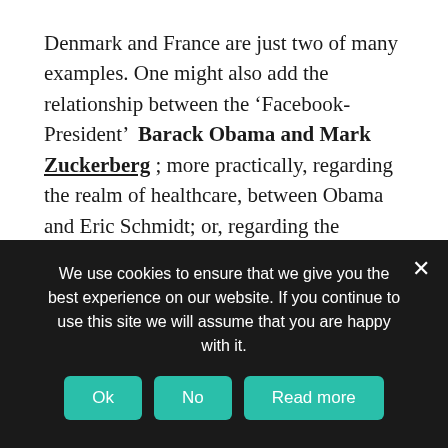Denmark and France are just two of many examples. One might also add the relationship between the ‘Facebook-President’  Barack Obama and Mark Zuckerberg ; more practically, regarding the realm of healthcare, between Obama and Eric Schmidt; or, regarding the current realpolitik order, PayPal founder Peter Thiel’s advisory activities for Donald Trump; among others. They represent an (a-)political way of thinking which follows the tech-laws of solutionist efficiency in the first place. Its rationale was nicely summed up by a slogan promoted by the German Free Democratic Party (FDP) during the country’s 2017 election campaign: ‘Digital first
We use cookies to ensure that we give you the best experience on our website. If you continue to use this site we will assume that you are happy with it.